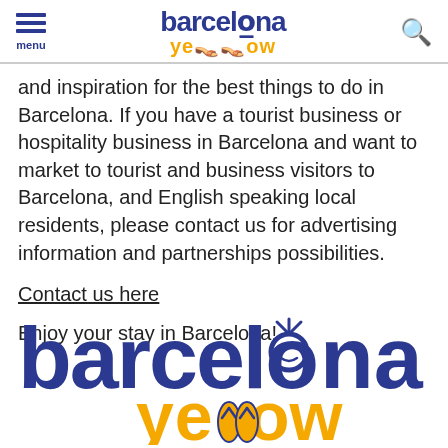menu | barcelona yellow | search
and inspiration for the best things to do in Barcelona. If you have a tourist business or hospitality business in Barcelona and want to market to tourist and business visitors to Barcelona, and English speaking local residents, please contact us for advertising information and partnerships possibilities.
Contact us here
Enjoy your stay in Barcelona!
[Figure (logo): Barcelona Yellow large logo with dark blue bold 'barcelona' text and yellow bold 'yellow' text below]